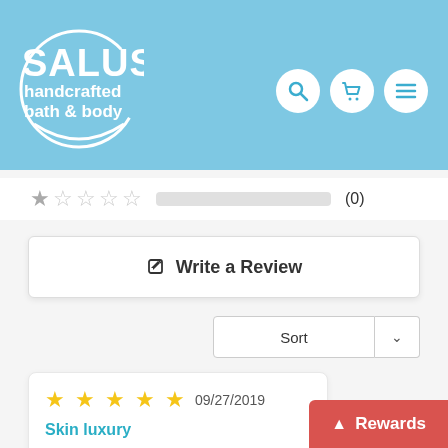[Figure (logo): SALUS handcrafted bath & body logo — white circular arc design with bold white SALUS text and smaller subtitle text on a light blue background, with search, cart, and menu icons top right]
[Figure (infographic): Star rating row showing 1 filled grey star and 4 empty stars, a grey progress bar, and (0) count]
✎  Write a Review
Sort ∨
★★★★★  09/27/2019
Skin luxury
Love this lotion bar after a nightly shower, the lavender smells amazing and is nicely
⌃  Rewards